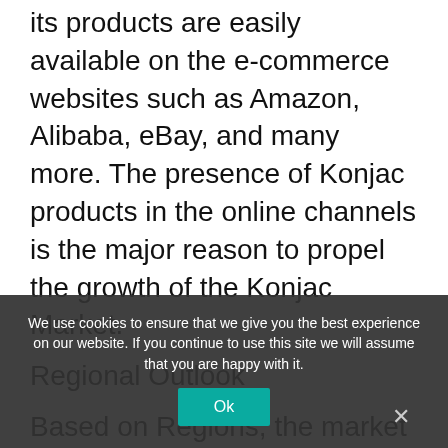its products are easily available on the e-commerce websites such as Amazon, Alibaba, eBay, and many more. The presence of Konjac products in the online channels is the major reason to propel the growth of the Konjac Market.
Regional Outlook
Based on Regions, the market is segmented into North America, Europe, Asia Pacific, and Latin America, Middle East & Africa. North America acquired the highest revenue share in the Konjac Market in 2020. Because of
We use cookies to ensure that we give you the best experience on our website. If you continue to use this site we will assume that you are happy with it.